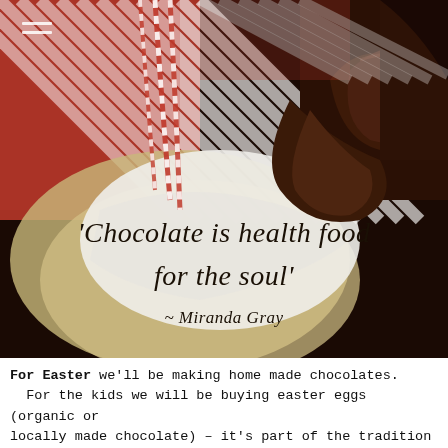[Figure (photo): Close-up photograph of dark chocolate pieces wrapped in white tissue paper, surrounded by red and white striped paper straws/decorations and natural fiber/burlap material, with a quote overlay: 'Chocolate is health food for the soul' - Miranda Gray]
For Easter we'll be making home made chocolates. For the kids we will be buying easter eggs (organic or locally made chocolate) – it's part of the tradition now